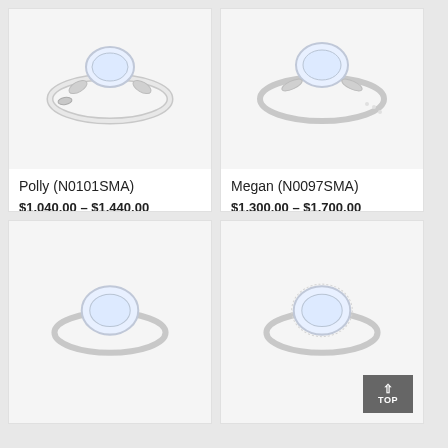[Figure (photo): Diamond engagement ring with leaf/floral band design - Polly N0101SMA]
Polly (N0101SMA)
$1,040.00 – $1,440.00 (USD)
WHITE YELLOW ROSE GOLD PLATINUM
[Figure (photo): Diamond engagement ring with pave band - Megan N0097SMA]
Megan (N0097SMA)
$1,300.00 – $1,700.00 (USD)
WHITE YELLOW ROSE GOLD PLATINUM
[Figure (photo): Diamond engagement ring - bottom left, partially visible]
[Figure (photo): Diamond engagement ring - bottom right, partially visible]